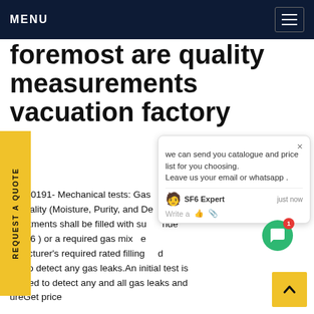MENU
foremost are quality measurements vacuation factory
18, 20191- Mechanical tests: Gas Quality (Moisture, Purity, and De compartments shall be filled with su ( SF6 ) or a required gas mix nufacturer's required rated filling ted to detect any gas leaks.An initial test is formed to detect any and all gas leaks and ureGet price